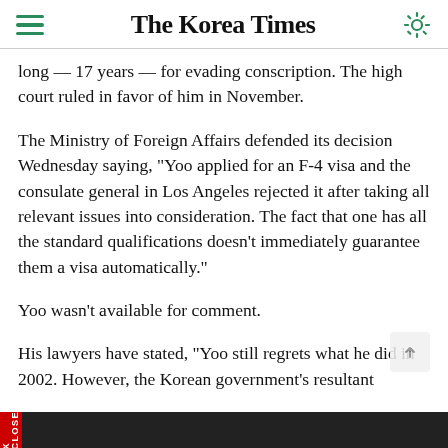The Korea Times
long — 17 years — for evading conscription. The high court ruled in favor of him in November.
The Ministry of Foreign Affairs defended its decision Wednesday saying, "Yoo applied for an F-4 visa and the consulate general in Los Angeles rejected it after taking all relevant issues into consideration. The fact that one has all the standard qualifications doesn't immediately guarantee them a visa automatically."
Yoo wasn't available for comment.
His lawyers have stated, "Yoo still regrets what he did in 2002. However, the Korean government's resultant